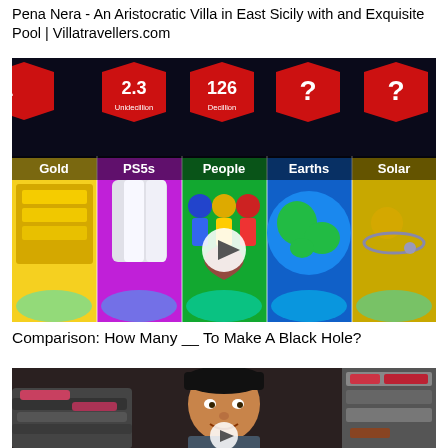Pena Nera - An Aristocratic Villa in East Sicily with and Exquisite Pool | Villatravellers.com
[Figure (screenshot): YouTube video thumbnail showing a comparison graphic with red hexagon badges displaying numbers: 2.3 Unidecillion, 126 Decillion, and question marks. Below the hexagons are columns labeled Gold, PS5s, People, Earths, Solar with corresponding cartoon images. A play button overlay is visible in the center. Video title area visible.]
Comparison: How Many __ To Make A Black Hole?
[Figure (photo): YouTube video thumbnail showing a man in a black baseball cap in front of piles of folded clothing. A play button overlay is visible at the bottom.]